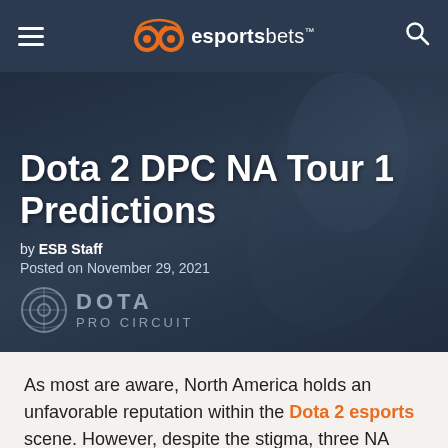esportsbets
Dota 2 DPC NA Tour 1 Predictions
by ESB Staff
Posted on November 29, 2021
[Figure (logo): Dota Pro Circuit logo watermark with circular emblem and text DOTA PRO CIRCUIT]
As most are aware, North America holds an unfavorable reputation within the Dota 2 esports scene. However, despite the stigma, three NA teams